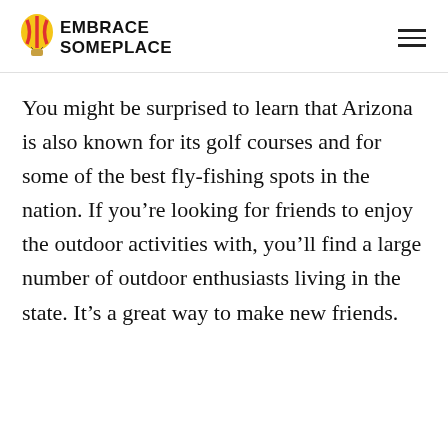EMBRACE SOMEPLACE
You might be surprised to learn that Arizona is also known for its golf courses and for some of the best fly-fishing spots in the nation. If you’re looking for friends to enjoy the outdoor activities with, you’ll find a large number of outdoor enthusiasts living in the state. It’s a great way to make new friends.